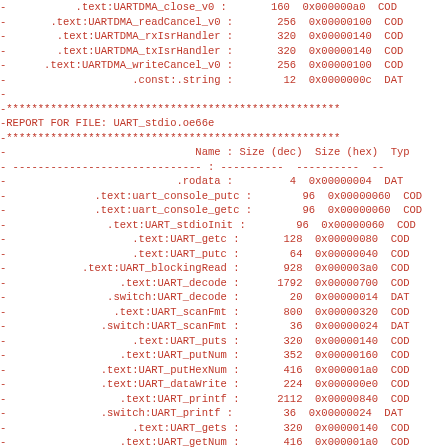| Name | Size (dec) | Size (hex) | Type |
| --- | --- | --- | --- |
| .text:UARTDMA_close_v0 | 160 | 0x000000a0 | COD |
| .text:UARTDMA_readCancel_v0 | 256 | 0x00000100 | COD |
| .text:UARTDMA_rxIsrHandler | 320 | 0x00000140 | COD |
| .text:UARTDMA_txIsrHandler | 320 | 0x00000140 | COD |
| .text:UARTDMA_writeCancel_v0 | 256 | 0x00000100 | COD |
| .const:.string | 12 | 0x0000000c | DAT |
|  |  |  |  |
| ****...(separator) |  |  |  |
| REPORT FOR FILE: UART_stdio.oe66e |  |  |  |
| ****...(separator) |  |  |  |
| Name | Size (dec) | Size (hex) | Typ |
| ---- | ---------- | ---------- | -- |
| .rodata | 4 | 0x00000004 | DAT |
| .text:uart_console_putc | 96 | 0x00000060 | COD |
| .text:uart_console_getc | 96 | 0x00000060 | COD |
| .text:UART_stdioInit | 96 | 0x00000060 | COD |
| .text:UART_getc | 128 | 0x00000080 | COD |
| .text:UART_putc | 64 | 0x00000040 | COD |
| .text:UART_blockingRead | 928 | 0x000003a0 | COD |
| .text:UART_decode | 1792 | 0x00000700 | COD |
| .switch:UART_decode | 20 | 0x00000014 | DAT |
| .text:UART_scanFmt | 800 | 0x00000320 | COD |
| .switch:UART_scanFmt | 36 | 0x00000024 | DAT |
| .text:UART_puts | 320 | 0x00000140 | COD |
| .text:UART_putNum | 352 | 0x00000160 | COD |
| .text:UART_putHexNum | 416 | 0x000001a0 | COD |
| .text:UART_dataWrite | 224 | 0x000000e0 | COD |
| .text:UART_printf | 2112 | 0x00000840 | COD |
| .switch:UART_printf | 36 | 0x00000024 | DAT |
| .text:UART_gets | 320 | 0x00000140 | COD |
| .text:UART_getNum | 416 | 0x000001a0 | COD |
| .text:UART_getHexNum | 1120 | 0x00000460 | COD |